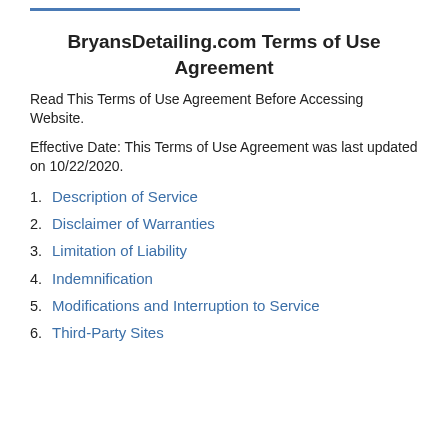BryansDetailing.com Terms of Use Agreement
Read This Terms of Use Agreement Before Accessing Website.
Effective Date: This Terms of Use Agreement was last updated on 10/22/2020.
1. Description of Service
2. Disclaimer of Warranties
3. Limitation of Liability
4. Indemnification
5. Modifications and Interruption to Service
6. Third-Party Sites